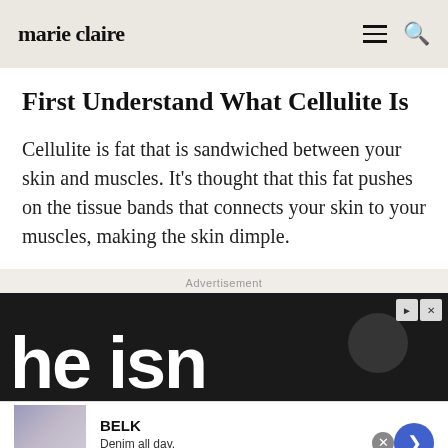marie claire
First Understand What Cellulite Is
Cellulite is fat that is sandwiched between your skin and muscles. It’s thought that this fat pushes on the tissue bands that connects your skin to your muscles, making the skin dimple.
[Figure (screenshot): Advertisement banner showing large white text 'he isn' on dark background, with ad controls]
[Figure (screenshot): BELK advertisement: Denim all day. www.belk.com with thumbnail image of jeans and navigation arrow button]